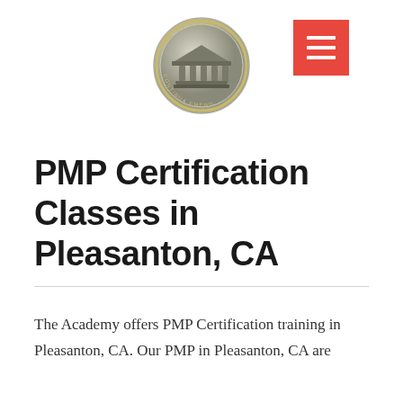[Figure (logo): The Academy circular logo with Greek temple/pillars and text 'THE ACADEMY' and 'CONTINUA EMEND...' around the border, silver/grey metallic style]
[Figure (other): Red square button with three white horizontal lines (hamburger menu icon)]
PMP Certification Classes in Pleasanton, CA
The Academy offers PMP Certification training in Pleasanton, CA. Our PMP in Pleasanton, CA are